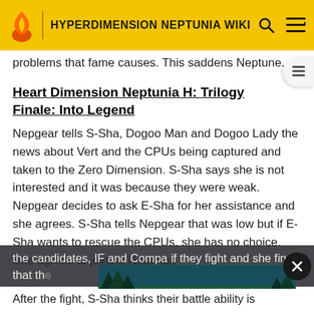HYPERDIMENSION NEPTUNIA WIKI
problems that fame causes. This saddens Neptune.
Heart Dimension Neptunia H: Trilogy Finale: Into Legend
Nepgear tells S-Sha, Dogoo Man and Dogoo Lady the news about Vert and the CPUs being captured and taken to the Zero Dimension. S-Sha says she is not interested and it was because they were weak. Nepgear decides to ask E-Sha for her assistance and she agrees. S-Sha tells Nepgear that was low but if E-Sha wants to rescue the CPUs, she has no choice. She agrees to joining Nepgear.
the candidates, IF and Compa if they fight and she finds that the
[Figure (infographic): Advertisement banner: PREVENT WILDFIRES. with Smokey Bear illustration on a forest background]
After the fight, S-Sha thinks their battle ability is